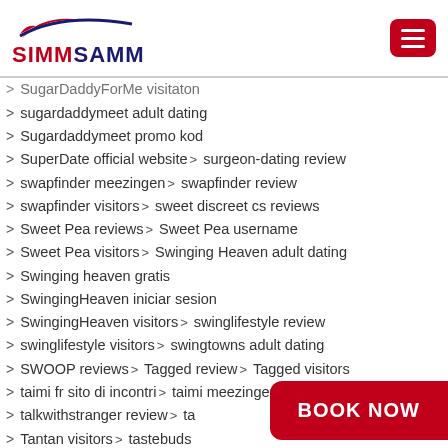[Figure (logo): SIMMSAMM logo with stylized red and blue swoosh above the text SIMMSAMM in red and dark blue bold letters]
SugarDaddyForMe visitaton
sugardaddymeet adult dating
Sugardaddymeet promo kod
SuperDate official website > surgeon-dating review
swapfinder meezingen > swapfinder review
swapfinder visitors > sweet discreet cs reviews
Sweet Pea reviews > Sweet Pea username
Sweet Pea visitors > Swinging Heaven adult dating
Swinging heaven gratis
SwingingHeaven iniciar sesion
SwingingHeaven visitors > swinglifestyle review
swinglifestyle visitors > swingtowns adult dating
SWOOP reviews > Tagged review > Tagged visitors
taimi fr sito di incontri > taimi meezingen
talkwithstranger review > ta...
Tantan visitors > tastebuds...
teen hookup apps link > Ta...